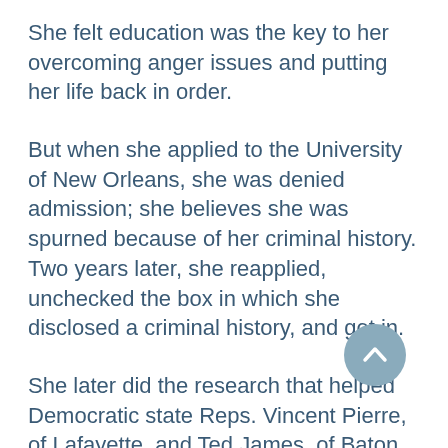She felt education was the key to her overcoming anger issues and putting her life back in order.
But when she applied to the University of New Orleans, she was denied admission; she believes she was spurned because of her criminal history. Two years later, she reapplied, unchecked the box in which she disclosed a criminal history, and got in.
She later did the research that helped Democratic state Reps. Vincent Pierre, of Lafayette, and Ted James, of Baton Rouge, craft legislation that bans public colleges and universities from asking most